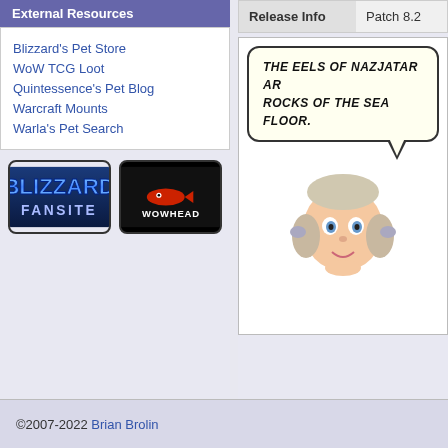External Resources
Blizzard's Pet Store
WoW TCG Loot
Quintessence's Pet Blog
Warcraft Mounts
Warla's Pet Search
[Figure (logo): Blizzard Fansite badge logo]
[Figure (logo): Wowhead badge logo]
| Release Info | Patch 8.2 |
| --- | --- |
[Figure (illustration): Comic panel with speech bubble saying 'THE EELS OF NAZJATAR AR... ROCKS OF THE SEA FLOOR.' and a female character illustration]
©2007-2022 Brian Brolin